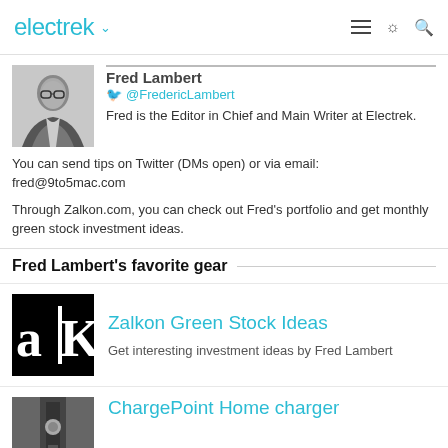electrek
Fred Lambert
@FredericLambert
Fred is the Editor in Chief and Main Writer at Electrek.
You can send tips on Twitter (DMs open) or via email: fred@9to5mac.com
Through Zalkon.com, you can check out Fred's portfolio and get monthly green stock investment ideas.
Fred Lambert's favorite gear
[Figure (logo): Zalkon logo — black background with stylized 'alK' lettering in white]
Zalkon Green Stock Ideas
Get interesting investment ideas by Fred Lambert
[Figure (photo): ChargePoint Home charger — partial image at bottom of page]
ChargePoint Home charger